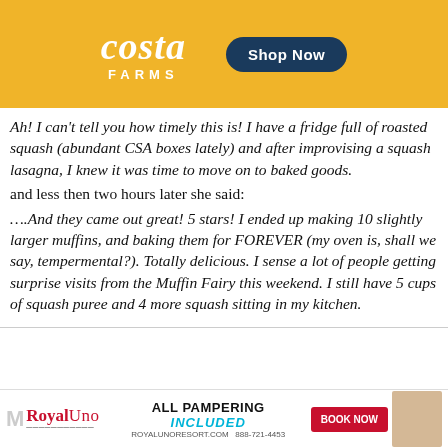[Figure (advertisement): Costa Farms advertisement banner with yellow/gold background, white italic 'Costa' logo text with 'FARMS' below, and a dark blue 'Shop Now' pill button]
Ah! I can't tell you how timely this is! I have a fridge full of roasted squash (abundant CSA boxes lately) and after improvising a squash lasagna, I knew it was time to move on to baked goods.
and less then two hours later she said:
….And they came out great! 5 stars! I ended up making 10 slightly larger muffins, and baking them for FOREVER (my oven is, shall we say, tempermental?). Totally delicious. I sense a lot of people getting surprise visits from the Muffin Fairy this weekend. I still have 5 cups of squash puree and 4 more squash sitting in my kitchen.
[Figure (advertisement): Royal Uno resort advertisement at bottom with red logo, 'ALL PAMPERING INCLUDED' text, royalunoresort.com and 888-721-4453, BOOK NOW button, and photo of woman]